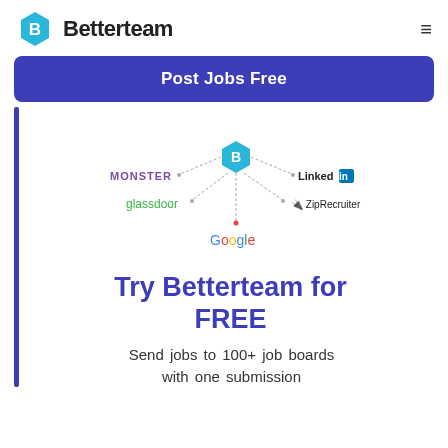Betterteam
[Figure (logo): Betterteam logo with hexagonal B icon and wordmark]
[Figure (infographic): Network diagram showing Betterteam B logo at center connected to Monster, LinkedIn, glassdoor, ZipRecruiter, and Google via dotted lines]
Try Betterteam for FREE
Send jobs to 100+ job boards with one submission